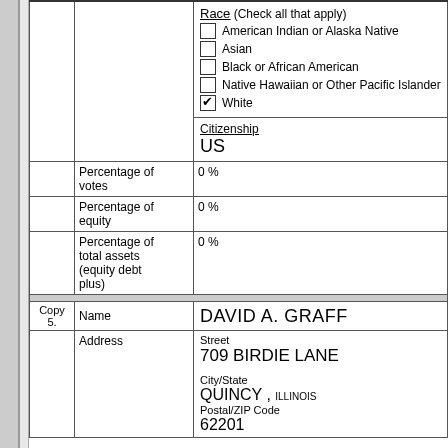|  |  | Race (Check all that apply)
☐ American Indian or Alaska Native
☐ Asian
☐ Black or African American
☐ Native Hawaiian or Other Pacific Islander
☑ White
Citizenship
US |
|  | Percentage of votes | 0 % |
|  | Percentage of equity | 0 % |
|  | Percentage of total assets (equity debt plus) | 0 % |
| Copy 5. | Name | DAVID A. GRAFF |
|  | Address | Street
709 BIRDIE LANE
City/State
QUINCY , ILLINOIS
Postal/ZIP Code
62201 |